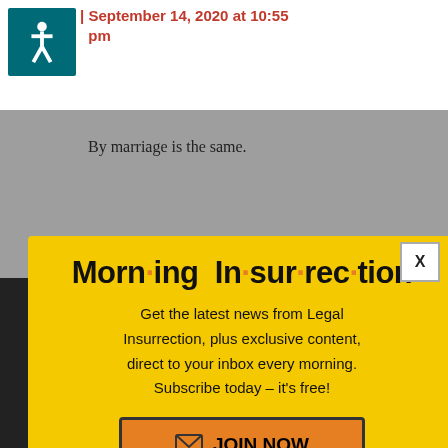September 14, 2020 at 10:55 pm
By marriage is the same.
[Figure (screenshot): Modal popup newsletter signup for Morning Insurrection from Legal Insurrection website with yellow background, orange dot-separated title, subscription text, and JOIN NOW button]
his ad s sister-in-law And that marriage no longer
READ MORE